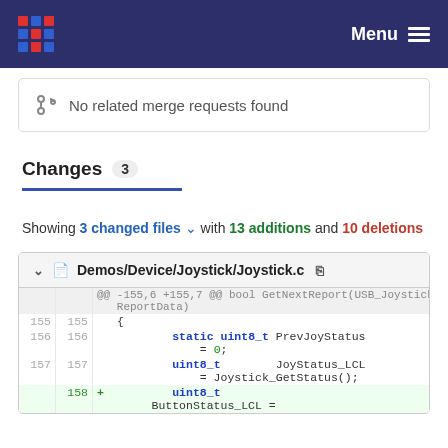Menu
No related merge requests found
Changes 3
Showing 3 changed files with 13 additions and 10 deletions
Demos/Device/Joystick/Joystick.c
| old ln | new ln | diff | code |
| --- | --- | --- | --- |
| ... | ... |  | @@ -155,6 +155,7 @@ bool GetNextReport(USB_JoystickReport_Data_t* ReportData) |
| 155 | 155 |  | { |
| 156 | 156 |  |         static uint8_t PrevJoyStatus = 0; |
| 157 | 157 |  |         uint8_t        JoyStatus_LCL = Joystick_GetStatus(); |
|  | 158 | + |         uint8_t |
|  |  |  | ButtonStatus_LCL = |